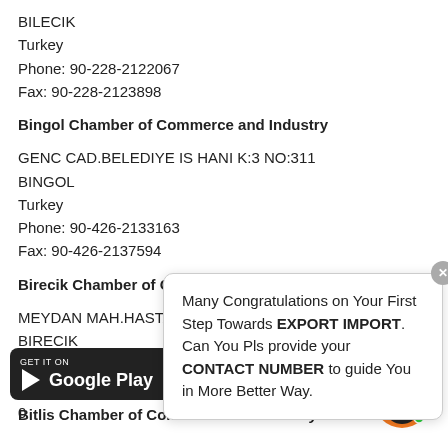BILECIK
Turkey
Phone: 90-228-2122067
Fax: 90-228-2123898
Bingol Chamber of Commerce and Industry
GENC CAD.BELEDIYE IS HANI K:3 NO:311
BINGOL
Turkey
Phone: 90-426-2133163
Fax: 90-426-2137594
Birecik Chamber of Comm
MEYDAN MAH.HASTANE
BIRECIK
Turkey
...165
...0
Bitlis Chamber of Commerce and Industry
[Figure (screenshot): Popup dialog with text: Many Congratulations on Your First Step Towards EXPORT IMPORT. Can You Pls provide your CONTACT NUMBER to guide You in More Better Way.]
[Figure (logo): Google Play badge with GET IT ON text and Play triangle icon]
[Figure (illustration): Customer service avatar - female figure with orange circle background and green dot]